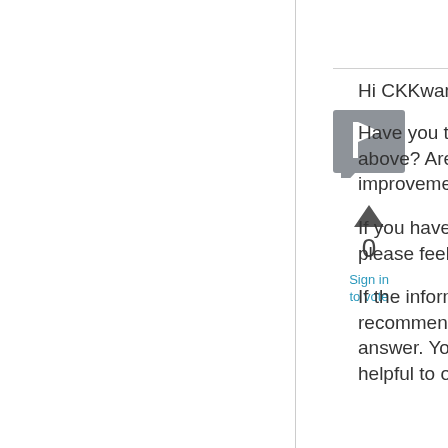[Figure (logo): Gray square avatar/comment icon with a white flag or speech bubble shape inside]
0
Sign in to vote
Hi CKKwan,
Have you tested with the steps above? Are there any improvements?
If you have further concern, please feel free to post back.
If the information helps, it's recommended to mark as answer. Your action would be helpful to other users who